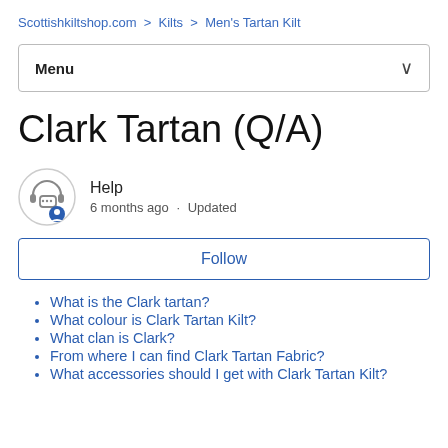Scottishkiltshop.com > Kilts > Men's Tartan Kilt
Clark Tartan (Q/A)
Help
6 months ago · Updated
Follow
What is the Clark tartan?
What colour is Clark Tartan Kilt?
What clan is Clark?
From where I can find Clark Tartan Fabric?
What accessories should I get with Clark Tartan Kilt?